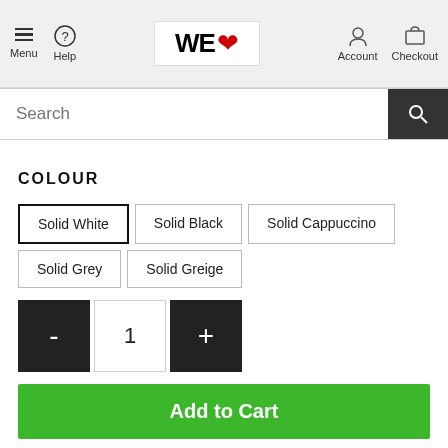Menu | Help | WE♥ | Account | Checkout
Search
COLOUR
Solid White
Solid Black
Solid Cappuccino
Solid Grey
Solid Greige
- 1 +
Add to Cart
Click & Collect available from 3-5 working days